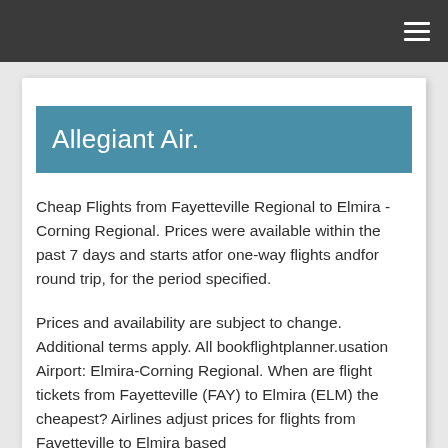≡
Allegiant Air.
Cheap Flights from Fayetteville Regional to Elmira - Corning Regional. Prices were available within the past 7 days and starts atfor one-way flights andfor round trip, for the period specified.
Prices and availability are subject to change. Additional terms apply. All bookflightplanner.usation Airport: Elmira-Corning Regional. When are flight tickets from Fayetteville (FAY) to Elmira (ELM) the cheapest? Airlines adjust prices for flights from Fayetteville to Elmira based